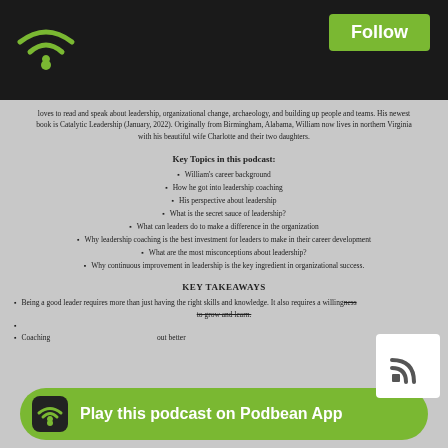Podbean podcast page header with WiFi logo and Follow button
loves to read and speak about leadership, organizational change, archaeology, and building up people and teams. His newest book is Catalytic Leadership (January, 2022). Originally from Birmingham, Alabama, William now lives in northern Virginia with his beautiful wife Charlotte and their two daughters.
Key Topics in this podcast:
William's career background
How he got into leadership coaching
His perspective about leadership
What is the secret sauce of leadership?
What can leaders do to make a difference in the organization
Why leadership coaching is the best investment for leaders to make in their career development
What are the most misconceptions about leadership?
Why continuous improvement in leadership is the key ingredient in organizational success.
KEY TAKEAWAYS
Being a good leader requires more than just having the right skills and knowledge. It also requires a willingness to grow and learn.
Coaching helps leaders understand themselves and others better